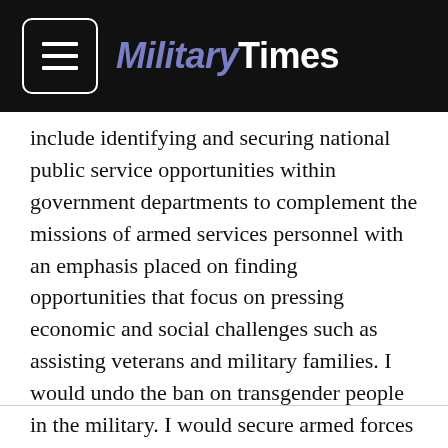Military Times
include identifying and securing national public service opportunities within government departments to complement the missions of armed services personnel with an emphasis placed on finding opportunities that focus on pressing economic and social challenges such as assisting veterans and military families. I would undo the ban on transgender people in the military. I would secure armed forces and military bases against extreme weather through smart infrastructure investments and planning, and eliminate risks to military personnel that arise out of our reliance on fossil fuels by transitioning to a safe and clean economy.